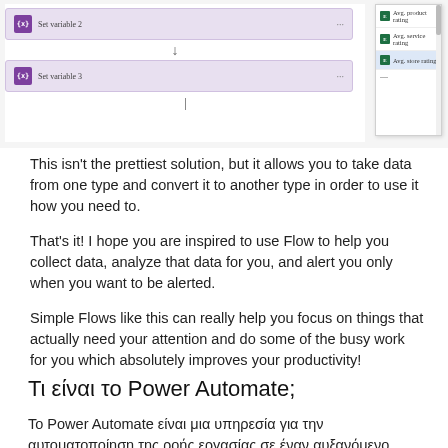[Figure (screenshot): Screenshot of a Power Automate flow showing two 'Set variable' blocks connected by a downward arrow on the left, and a dropdown list on the right showing 'Avg. product rating', 'Avg. service rating', and 'Avg. store rating' (selected) with a scrollbar.]
This isn't the prettiest solution, but it allows you to take data from one type and convert it to another type in order to use it how you need to.
That's it! I hope you are inspired to use Flow to help you collect data, analyze that data for you, and alert you only when you want to be alerted.
Simple Flows like this can really help you focus on things that actually need your attention and do some of the busy work for you which absolutely improves your productivity!
Τι είναι το Power Automate;
Το Power Automate είναι μια υπηρεσία για την αυτοματοποίηση της ροής εργασίας σε έναν αυξανόμενο